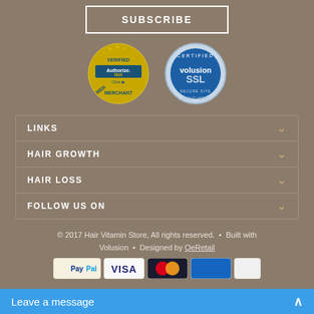SUBSCRIBE
[Figure (logo): Authorize.Net Verified Merchant badge - gold sunburst seal]
[Figure (logo): Volusion SSL Certified Secure Site badge - silver/blue circular badge]
LINKS
HAIR GROWTH
HAIR LOSS
FOLLOW US ON
© 2017 Hair Vitamin Store, All rights reserved.  •  Built with Volusion  •  Designed by QeRetail
[Figure (logo): Payment method icons: PayPal, VISA, Mastercard, and other cards]
Leave a message